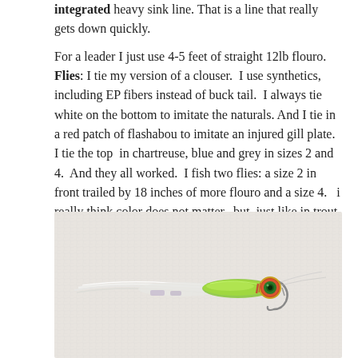integrated heavy sink line. That is a line that really gets down quickly.

For a leader I just use 4-5 feet of straight 12lb flouro. Flies: I tie my version of a clouser. I use synthetics, including EP fibers instead of buck tail. I always tie white on the bottom to imitate the naturals. And I tie in a red patch of flashabou to imitate an injured gill plate. I tie the top in chartreuse, blue and grey in sizes 2 and 4. And they all worked. I fish two flies: a size 2 in front trailed by 18 inches of more flouro and a size 4. i really think color does not matter. but, just like in trout fishing the trailing fly gets most of the hookups.
[Figure (photo): Close-up photograph of a fishing fly (clouser-style) with white and chartreuse/green synthetic fibers, a red/gold bead head with a green eye, and a hook, laid on a light fabric background.]